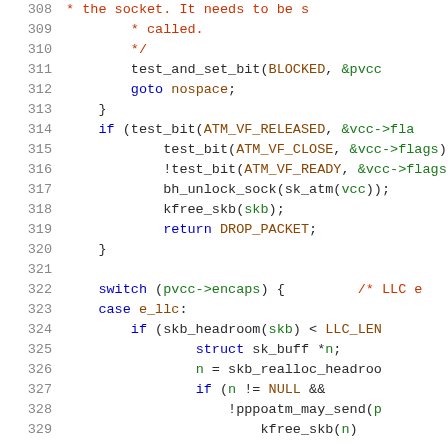[Figure (screenshot): Source code listing lines 308-329 showing C kernel code with syntax highlighting. Line numbers in gray on left, code on right with keywords in blue, comments in red/orange, identifiers in brown/olive, variables in green.]